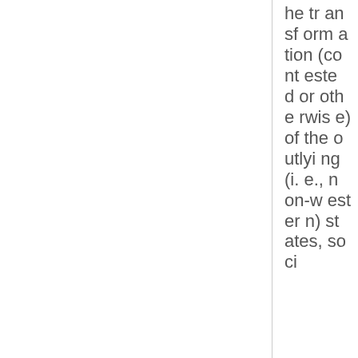he transformation (contested or otherwise) of the outlying (i.e., non-western) states, soci